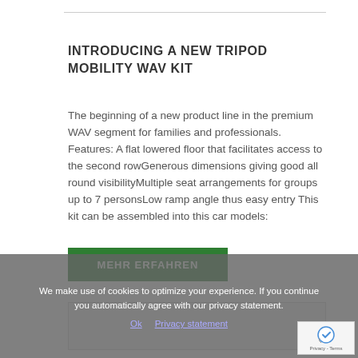INTRODUCING A NEW TRIPOD MOBILITY WAV KIT
The beginning of a new product line in the premium WAV segment for families and professionals. Features: A flat lowered floor that facilitates access to the second rowGenerous dimensions giving good all round visibilityMultiple seat arrangements for groups up to 7 personsLow ramp angle thus easy entry This kit can be assembled into this car models:
MEHR ERFAHREN
[Figure (photo): Image box (partially visible, cut off at bottom of page)]
We make use of cookies to optimize your experience. If you continue you automatically agree with our privacy statement.
Ok  Privacy statement